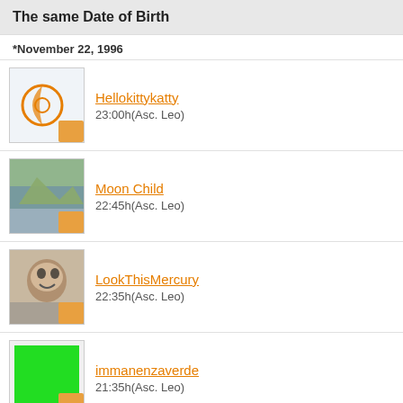The same Date of Birth
*November 22, 1996
Hellokittykatty
23:00h(Asc. Leo)
Moon Child
22:45h(Asc. Leo)
LookThisMercury
22:35h(Asc. Leo)
immanenzaverde
21:35h(Asc. Leo)
immanenzasoldi
21:35h(Asc. Leo)
immanenzaastrologia
21:35h(Asc. Leo)